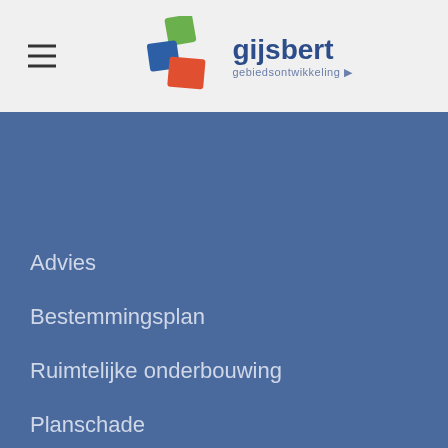[Figure (logo): Gijsbert gebiedsontwikkeling logo with colorful building blocks icon and text]
Advies
Bestemmingsplan
Ruimtelijke onderbouwing
Planschade